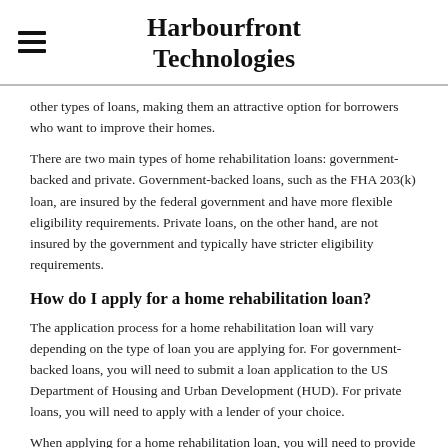Harbourfront Technologies
other types of loans, making them an attractive option for borrowers who want to improve their homes.
There are two main types of home rehabilitation loans: government-backed and private. Government-backed loans, such as the FHA 203(k) loan, are insured by the federal government and have more flexible eligibility requirements. Private loans, on the other hand, are not insured by the government and typically have stricter eligibility requirements.
How do I apply for a home rehabilitation loan?
The application process for a home rehabilitation loan will vary depending on the type of loan you are applying for. For government-backed loans, you will need to submit a loan application to the US Department of Housing and Urban Development (HUD). For private loans, you will need to apply with a lender of your choice.
When applying for a home rehabilitation loan, you will need to provide